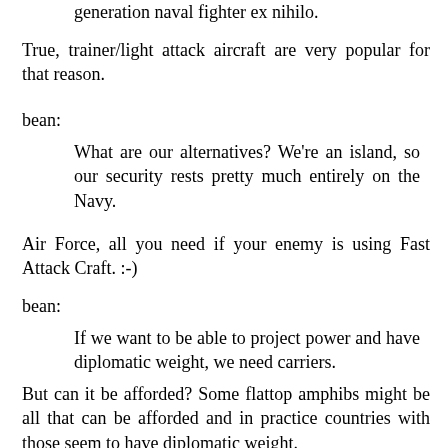generation naval fighter ex nihilo.
True, trainer/light attack aircraft are very popular for that reason.
bean:
What are our alternatives? We're an island, so our security rests pretty much entirely on the Navy.
Air Force, all you need if your enemy is using Fast Attack Craft. :-)
bean:
If we want to be able to project power and have diplomatic weight, we need carriers.
But can it be afforded? Some flattop amphibs might be all that can be afforded and in practice countries with those seem to have diplomatic weight.